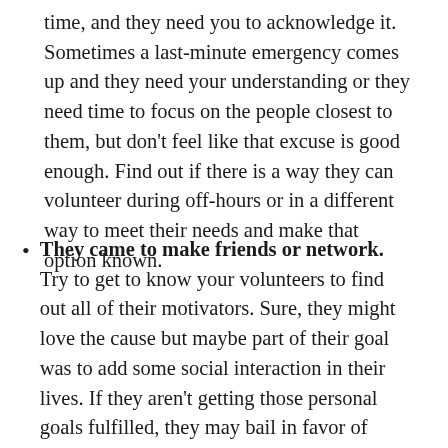time, and they need you to acknowledge it. Sometimes a last-minute emergency comes up and they need your understanding or they need time to focus on the people closest to them, but don't feel like that excuse is good enough. Find out if there is a way they can volunteer during off-hours or in a different way to meet their needs and make that option known.
They came to make friends or network. Try to get to know your volunteers to find out all of their motivators. Sure, they might love the cause but maybe part of their goal was to add some social interaction in their lives. If they aren't getting those personal goals fulfilled, they may bail in favor of another volunteer opportunity that does give them that chance.